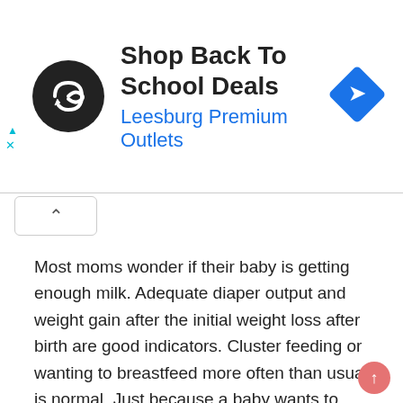[Figure (advertisement): Shop Back To School Deals - Leesburg Premium Outlets advertisement banner with circular black logo featuring a loop/infinity-like symbol and a blue diamond navigation icon on the right]
Most moms wonder if their baby is getting enough milk. Adequate diaper output and weight gain after the initial weight loss after birth are good indicators. Cluster feeding or wanting to breastfeed more often than usual is normal. Just because a baby wants to breastfeed often does not mean they are starving. Sometimes the reason points to a growth spurt or needing extra comfort. Although it is exhausting, babies will eventually eat less often and fall into some sort of schedule on their own. Try not to stress about breastfeeding on a schedule, especially during the first few months when feedings can be unpredictable.